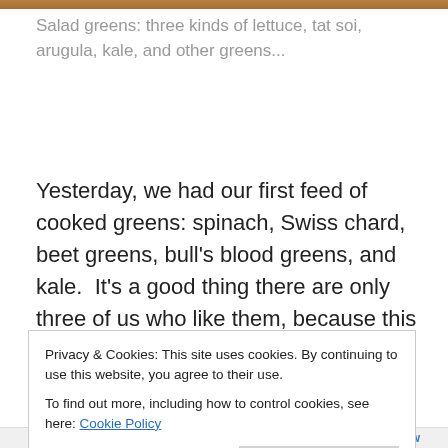[Figure (photo): Top strip showing a partial image of salad greens/vegetables, cropped at the top of the page]
Salad greens: three kinds of lettuce, tat soi, arugula, kale, and other greens...
Yesterday, we had our first feed of cooked greens: spinach, Swiss chard, beet greens, bull's blood greens, and kale.  It's a good thing there are only three of us who like them, because this big pot of raw greens fit into a small bowl once cooked:
Privacy & Cookies: This site uses cookies. By continuing to use this website, you agree to their use.
To find out more, including how to control cookies, see here: Cookie Policy